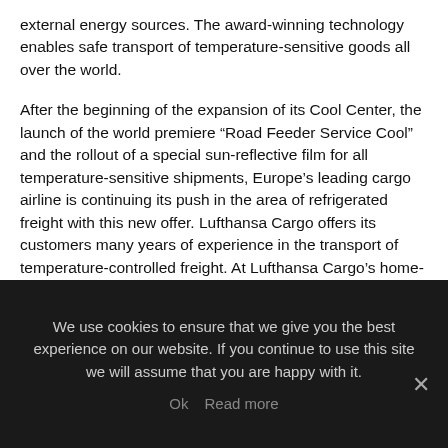external energy sources. The award-winning technology enables safe transport of temperature-sensitive goods all over the world.
After the beginning of the expansion of its Cool Center, the launch of the world premiere “Road Feeder Service Cool” and the rollout of a special sun-reflective film for all temperature-sensitive shipments, Europe’s leading cargo airline is continuing its push in the area of refrigerated freight with this new offer. Lufthansa Cargo offers its customers many years of experience in the transport of temperature-controlled freight. At Lufthansa Cargo’s home-city hub in Frankfurt, customers of the airline benefit from the in-house Cool Center with the latest infrastructure, cooling rooms maintained at different temperatures, a deep-freeze compartment and direct access
We use cookies to ensure that we give you the best experience on our website. If you continue to use this site we will assume that you are happy with it.
Ok   Read more